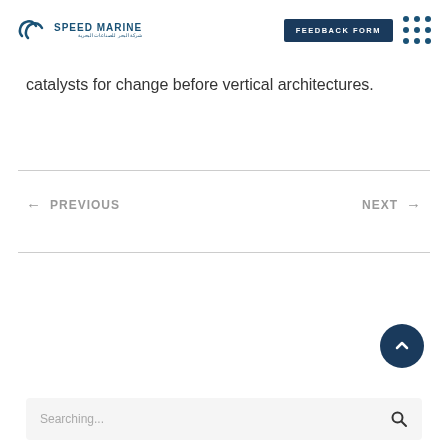Speed Marine | Feedback Form
catalysts for change before vertical architectures.
← PREVIOUS
NEXT →
Searching...